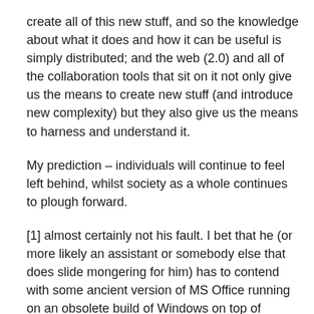create all of this new stuff, and so the knowledge about what it does and how it can be useful is simply distributed; and the web (2.0) and all of the collaboration tools that sit on it not only give us the means to create new stuff (and introduce new complexity) but they also give us the means to harness and understand it.
My prediction – individuals will continue to feel left behind, whilst society as a whole continues to plough forward.
[1] almost certainly not his fault. I bet that he (or more likely an assistant or somebody else that does slide mongering for him) has to contend with some ancient version of MS Office running on an obsolete build of Windows on top of crumbling neutered hardware. If my impressions of public sector IT (even amongst its highest operatives), formed by my own somewhat dated